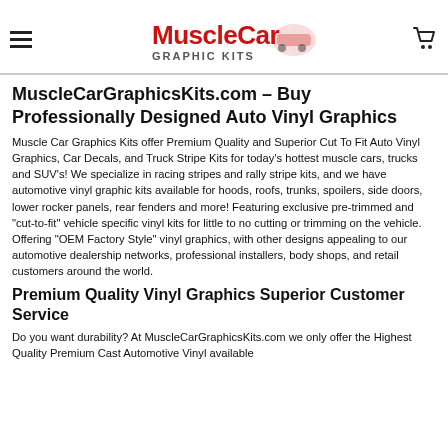MuscleCar Graphic Kits logo, hamburger menu, cart icon
MuscleCarGraphicsKits.com – Buy Professionally Designed Auto Vinyl Graphics
Muscle Car Graphics Kits offer Premium Quality and Superior Cut To Fit Auto Vinyl Graphics, Car Decals, and Truck Stripe Kits for today's hottest muscle cars, trucks and SUV's! We specialize in racing stripes and rally stripe kits, and we have automotive vinyl graphic kits available for hoods, roofs, trunks, spoilers, side doors, lower rocker panels, rear fenders and more! Featuring exclusive pre-trimmed and "cut-to-fit" vehicle specific vinyl kits for little to no cutting or trimming on the vehicle. Offering "OEM Factory Style" vinyl graphics, with other designs appealing to our automotive dealership networks, professional installers, body shops, and retail customers around the world.
Premium Quality Vinyl Graphics Superior Customer Service
Do you want durability? At MuscleCarGraphicsKits.com we only offer the Highest Quality Premium Cast Automotive Vinyl available